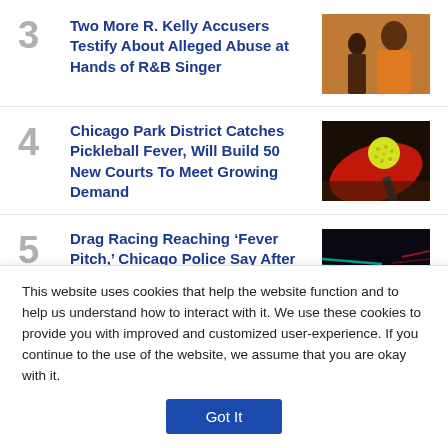3 Two More R. Kelly Accusers Testify About Alleged Abuse at Hands of R&B Singer
[Figure (photo): Man in orange prison jumpsuit, side profile]
4 Chicago Park District Catches Pickleball Fever, Will Build 50 New Courts To Meet Growing Demand
[Figure (photo): Yellow pickleball on red paddle on dark surface]
5 Drag Racing Reaching ‘Fever Pitch,’ Chicago Police Say After
[Figure (photo): Cars racing at night with motion blur and teal/red lights]
This website uses cookies that help the website function and to help us understand how to interact with it. We use these cookies to provide you with improved and customized user-experience. If you continue to the use of the website, we assume that you are okay with it.
Got It